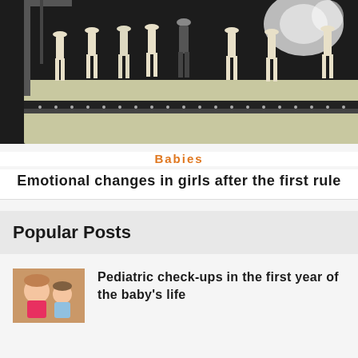[Figure (photo): Dancers on a stage in white suits and hats, with one central performer in a dark outfit doing a dance move, stage lighting visible in background]
Babies
Emotional changes in girls after the first rule
Popular Posts
[Figure (photo): Small children, one in a pink shirt, smiling]
Pediatric check-ups in the first year of the baby's life